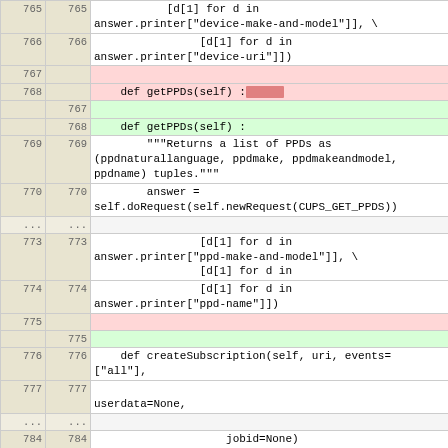| old_ln | new_ln | code |
| --- | --- | --- |
| 765 | 765 | [d[1] for d in
answer.printer["device-make-and-model"]], \ |
| 766 | 766 |            [d[1] for d in
answer.printer["device-uri"]]) |
| 767 |  | (deleted) |
| 768 |  |     def getPPDs(self) : [REDACTED] |
|  | 767 |  |
|  | 768 |     def getPPDs(self) : |
| 769 | 769 |      """Returns a list of PPDs as
(ppdnaturallanguage, ppdmake, ppdmakeandmodel,
ppdname) tuples.""" |
| 770 | 770 |      answer =
self.doRequest(self.newRequest(CUPS_GET_PPDS)) |
| ... | ... |  |
| 773 | 773 |            [d[1] for d in
answer.printer["ppd-make-and-model"]], \
          [d[1] for d in |
| 774 | 774 |             [d[1] for d in
answer.printer["ppd-name"]]) |
| 775 |  | (deleted) |
|  | 775 |  |
| 776 | 776 |     def createSubscription(self, uri, events=
["all"], |
| 777 | 777 | 
userdata=None, |
| ... | ... |  |
| 784 | 784 |                     jobid=None)
: |
| 785 | 785 |      """Creates a job, printer or server
subscription. |
| 786 |  | (deleted) |
|  | 786 |  |
| 787 | 787 |       uri : the subscription's uri, e.g.
ipp://server |
| 788 | 788 |       events : a list of events to subscribe |